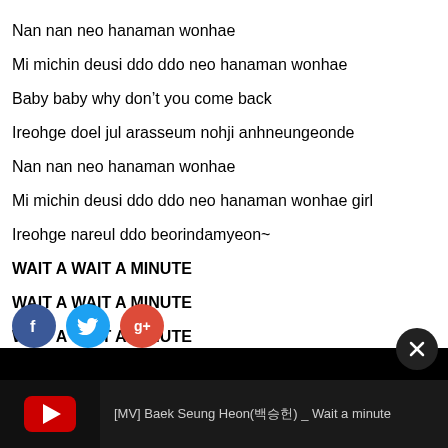Nan nan neo hanaman wonhae
Mi michin deusi ddo ddo neo hanaman wonhae
Baby baby why don't you come back
Ireohge doel jul arasseum nohji anhneungeonde
Nan nan neo hanaman wonhae
Mi michin deusi ddo ddo neo hanaman wonhae girl

Ireohge nareul ddo beorindamyeon~
WAIT A WAIT A MINUTE
WAIT A WAIT A MINUTE
WAIT A WAIT A MINUTE
BABY BABY TELL ME BABY
WAIT A WAIT A MINUTE
[Figure (other): Social media share icons: Facebook (blue circle with f), Twitter (blue circle with bird), Google+ (red circle with g+)]
[Figure (other): Black video player bar with YouTube thumbnail and close button. Video title: [MV] Baek Seung Heon(백승헌) _ Wait a minute]